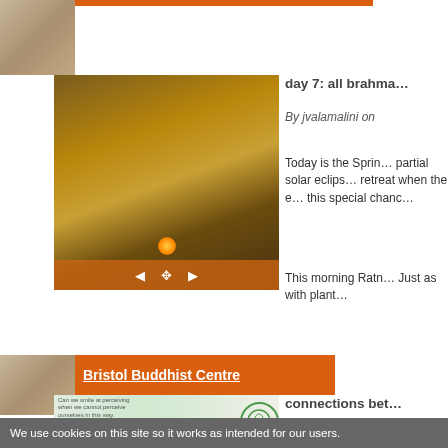[Figure (photo): Thumbnail of meditation hall with people seated]
[Figure (photo): Video still of Buddha statue with lit candle and flowers, with video playback controls overlay in orange]
day 7: all brahm…
By jvalamalini on
Today is the Sprin… partial solar eclips… retreat when the e… this special chanc…
This morning Ratn… Just as with plant…
[Figure (photo): Thumbnail of meditation hall]
Bristol Buddhist Centre
[Figure (illustration): Image with text and circular Buddhist icon/logo]
connections bet…
By jvalamalini on
We use cookies on this site so it works as intended for our users.